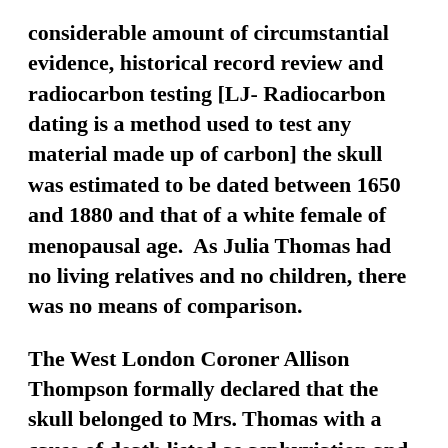considerable amount of circumstantial evidence, historical record review and radiocarbon testing [LJ- Radiocarbon dating is a method used to test any material made up of carbon] the skull was estimated to be dated between 1650 and 1880 and that of a white female of menopausal age.  As Julia Thomas had no living relatives and no children, there was no means of comparison.
The West London Coroner Allison Thompson formally declared that the skull belonged to Mrs. Thomas with a cause of death listed as asphyxiation and head injury.